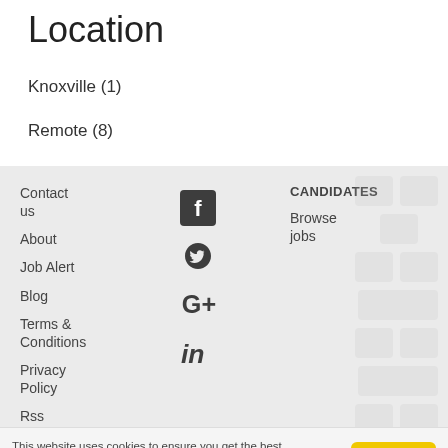Location
Knoxville (1)
Remote (8)
Contact us
About
Job Alert
Blog
Terms & Conditions
Privacy Policy
Rss
Sitemap
GDPR
CANDIDATES
Browse jobs
RECRUITERS
Post a job +
Sign in
This website uses cookies to ensure you get the best experience. More info  Got it!